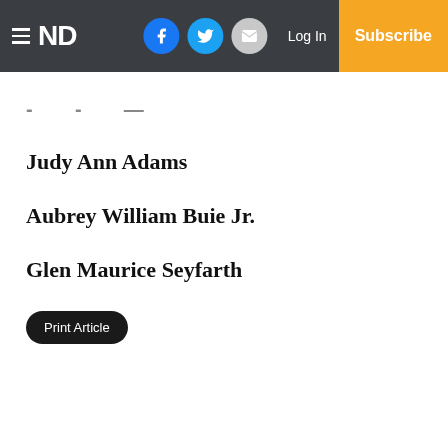ND | Facebook | Twitter | Email | Log In | Subscribe
- - —
Judy Ann Adams
Aubrey William Buie Jr.
Glen Maurice Seyfarth
Print Article